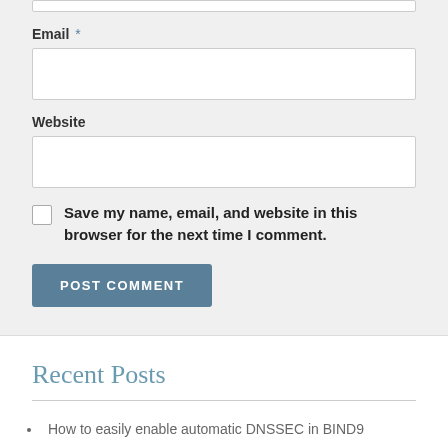Email *
Website
Save my name, email, and website in this browser for the next time I comment.
POST COMMENT
Recent Posts
How to easily enable automatic DNSSEC in BIND9
How to disable spotlight on MacOS